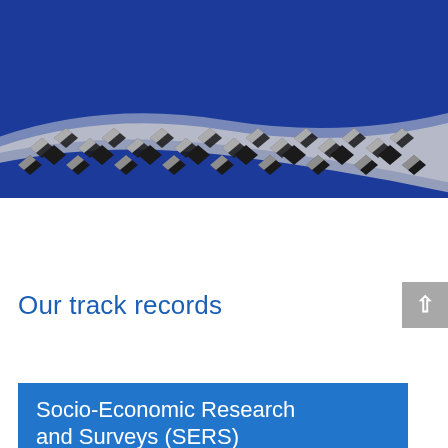Analysis and Business Consulting
[Figure (illustration): Dark blue circular band at top with decorative metallic mesh/chain-link wave pattern across the lower portion of the blue area, transitioning to white background below]
Our track records
Socio-Economic Research and Surveys (SERS)